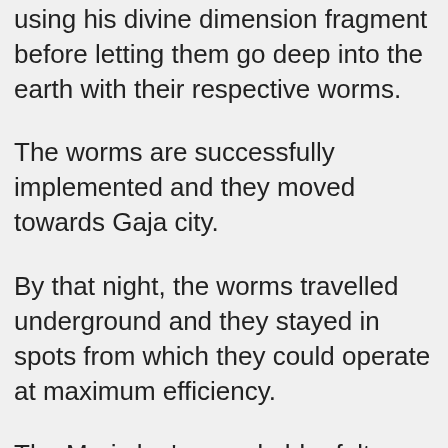using his divine dimension fragment before letting them go deep into the earth with their respective worms.
The worms are successfully implemented and they moved towards Gaja city.
By that night, the worms travelled underground and they stayed in spots from which they could operate at maximum efficiency.
The Mari clan's grand elder felt pretty satisfied and left.
But what he doesn't know is that within a certain radius